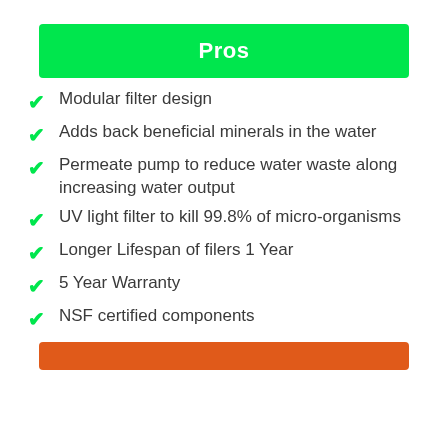Pros
Modular filter design
Adds back beneficial minerals in the water
Permeate pump to reduce water waste along increasing water output
UV light filter to kill 99.8% of micro-organisms
Longer Lifespan of filers 1 Year
5 Year Warranty
NSF certified components